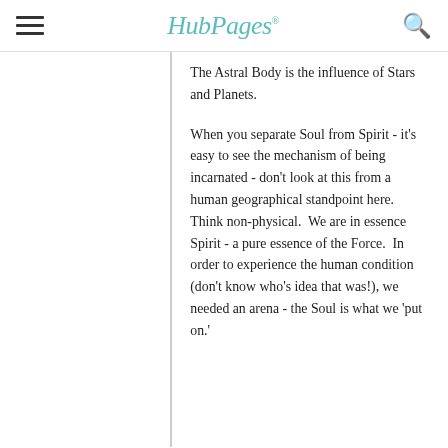HubPages
The Astral Body is the influence of Stars and Planets.
When you separate Soul from Spirit - it's easy to see the mechanism of being incarnated - don't look at this from a human geographical standpoint here. Think non-physical.  We are in essence Spirit - a pure essence of the Force.  In order to experience the human condition (don't know who's idea that was!), we needed an arena - the Soul is what we 'put on.'